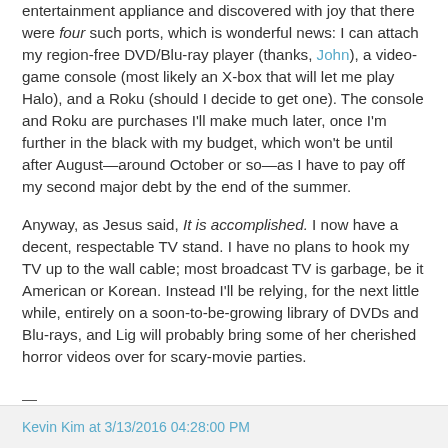entertainment appliance and discovered with joy that there were four such ports, which is wonderful news: I can attach my region-free DVD/Blu-ray player (thanks, John), a video-game console (most likely an X-box that will let me play Halo), and a Roku (should I decide to get one). The console and Roku are purchases I'll make much later, once I'm further in the black with my budget, which won't be until after August—around October or so—as I have to pay off my second major debt by the end of the summer.
Anyway, as Jesus said, It is accomplished. I now have a decent, respectable TV stand. I have no plans to hook my TV up to the wall cable; most broadcast TV is garbage, be it American or Korean. Instead I'll be relying, for the next little while, entirely on a soon-to-be-growing library of DVDs and Blu-rays, and Lig will probably bring some of her cherished horror videos over for scary-movie parties.
—
Kevin Kim at 3/13/2016 04:28:00 PM